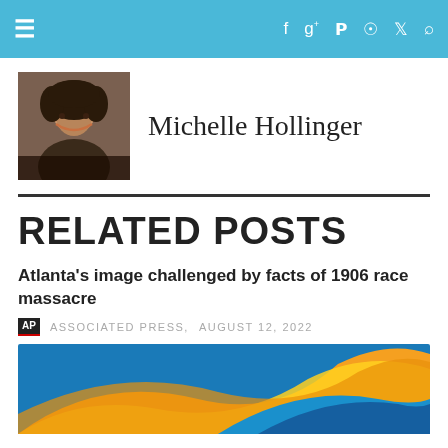Navigation bar with menu and social icons (Facebook, Google+, Pinterest, RSS, Twitter, Search)
Michelle Hollinger
[Figure (photo): Profile photo of Michelle Hollinger, a woman with natural hair, smiling]
RELATED POSTS
Atlanta's image challenged by facts of 1906 race massacre
ASSOCIATED PRESS. AUGUST 12, 2022
[Figure (illustration): Associated Press decorative wave graphic with orange, yellow, and blue colors]